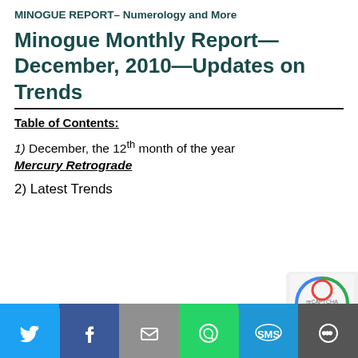MINOGUE REPORT– Numerology and More
Minogue Monthly Report—December, 2010—Updates on Trends
Table of Contents:
1) December, the 12th month of the year Mercury Retrograde
2) Latest Trends